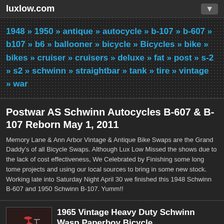luxlow.com
1948 » 1950 » antique » autocycle » b-107 » b-607 » b107 » b6 » ballooner » bicycle » Bicycles » bike » bikes » cruiser » cruisers » deluxe » fat » post » s-2 » s2 » schwinn » straightbar » tank » tire » vintage » war
Postwar AS Schwinn Autocycles B-607 & B-107 Reborn May 1, 2011
Memory Lane & Ann Arbor Vintage & Antique Bike Swaps are the Grand Daddy's of all Bicycle Swaps. Although Lux Low Missed the shows due to the lack of cost effectiveness, We Celebrated by Finishing some long tome projects and using our local sources to bring in some new stock. Working late into Saturday Night April 30 we finished this 1948 Schwinn B-607 and 1950 Schwinn B-107. Yumm!!
[Figure (photo): Thumbnail photo of a vintage red Schwinn Wasp bicycle]
1965 Vintage Heavy Duty Schwinn Wasp Paperboy Bicycle
1965 classic heavy duty Schwinn Wasp fat tire bike. The Wasp